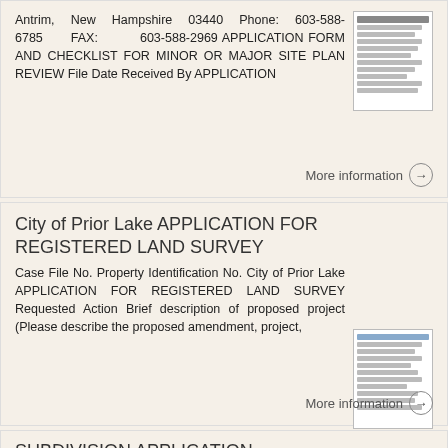Antrim, New Hampshire 03440 Phone: 603-588-6785 FAX: 603-588-2969 APPLICATION FORM AND CHECKLIST FOR MINOR OR MAJOR SITE PLAN REVIEW File Date Received By APPLICATION
[Figure (other): Thumbnail image of a document form]
More information →
City of Prior Lake APPLICATION FOR REGISTERED LAND SURVEY
Case File No. Property Identification No. City of Prior Lake APPLICATION FOR REGISTERED LAND SURVEY Requested Action Brief description of proposed project (Please describe the proposed amendment, project,
[Figure (other): Thumbnail image of a land survey application form]
More information →
SUBDIVISION APPLICATION CHECKLIST
SKETCH PLAN PRELIMINARY PLAT FINAL